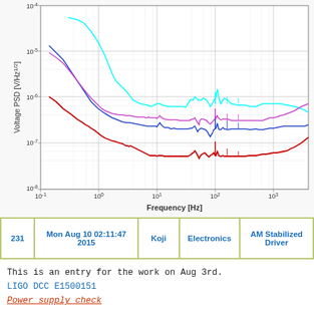[Figure (continuous-plot): Log-log plot of Voltage PSD [V/Hz^(1/2)] vs Frequency [Hz] showing four traces (cyan, blue, magenta/pink, red) from 10^-1 to ~4000 Hz frequency range and 10^-8 to 10^-4 V/Hz^(1/2) amplitude range. All traces show 1/f noise at low frequencies and rising noise at high frequencies, with spectral peaks near 100 Hz.]
| 231 | Mon Aug 10 02:11:47 2015 | Koji | Electronics | AM Stabilized Driver |
| --- | --- | --- | --- | --- |
This is an entry for the work on Aug 3rd.
LIGO DCC E1500151
Power supply check